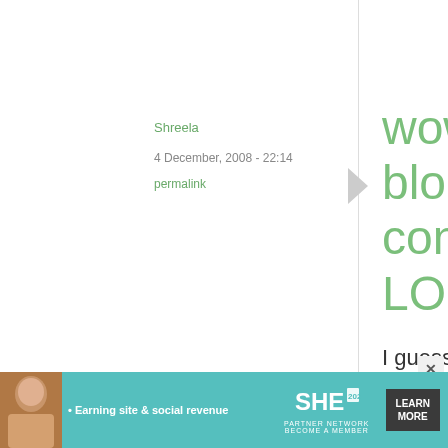Shreela
4 December, 2008 - 22:14
permalink
wow, food blogging contests queen LOL
I guess the occasional comments I leave on your blog are soon enough after the posts that I haven't seen troll
[Figure (infographic): Advertisement banner for SHE Partner Network with teal background, woman photo, bullet text 'Earning site & social revenue', SHE logo, 'PARTNER NETWORK BECOME A MEMBER' text, and 'LEARN MORE' dark button]